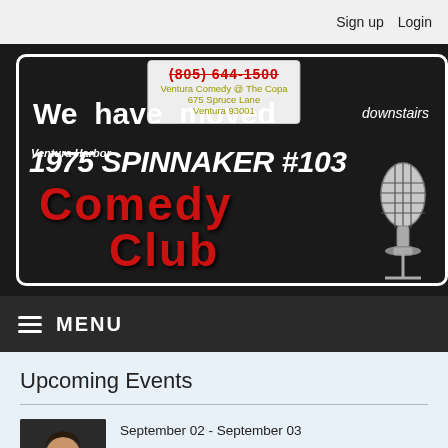Sign up  Login
[Figure (illustration): Ventura Harbor Comedy Club banner — black background with white bordered box. Text: 'We have moved', '1975 SPINNAKER #103', 'Comedy Club' in red, 'downstairs' in italic white. Overlaid address popup: (805) 644-1500, Ventura Comedy @ The Copa, 675 Spruce Lane, Ventura 93001. Microphone illustration on right.]
≡  MENU
Upcoming Events
[Figure (photo): Headshot of a male comedian smiling, wearing a patterned shirt]
September 02 - September 03